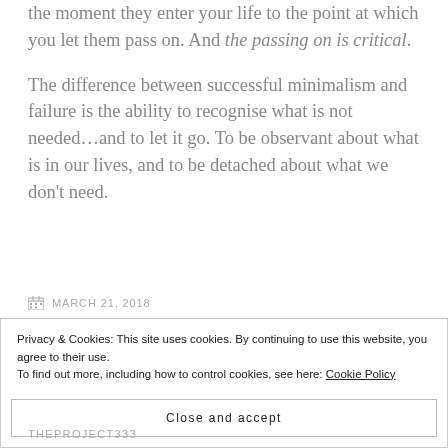the moment they enter your life to the point at which you let them pass on. And the passing on is critical.
The difference between successful minimalism and failure is the ability to recognise what is not needed…and to let it go. To be observant about what is in our lives, and to be detached about what we don't need.
MARCH 21, 2018
Privacy & Cookies: This site uses cookies. By continuing to use this website, you agree to their use. To find out more, including how to control cookies, see here: Cookie Policy
Close and accept
THEPROJECT333